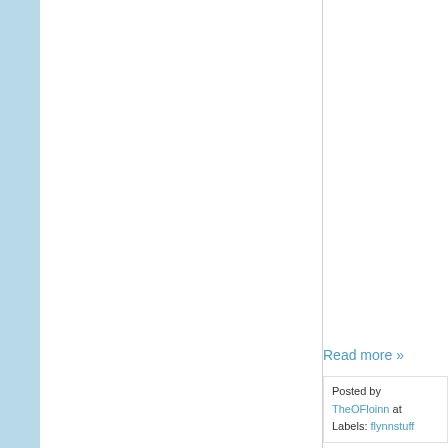Read more »
Posted by TheOFloinn at Labels: flynnstuff